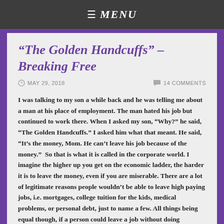≡ MENU
“The Golden Handcuffs” – Breaking Free
MAY 29, 2018    14 COMMENTS
I was talking to my son a while back and he was telling me about a man at his place of employment. The man hated his job but continued to work there. When I asked my son, “Why?” he said, “The Golden Handcuffs.” I asked him what that meant. He said, “It’s the money, Mom. He can’t leave his job because of the money.”  So that is what it is called in the corporate world. I imagine the higher up you get on the economic ladder, the harder it is to leave the money, even if you are miserable. There are a lot of legitimate reasons people wouldn’t be able to leave high paying jobs, i.e. mortgages, college tuition for the kids, medical problems, or personal debt, just to name a few. All things being equal though, if a person could leave a job without doing irreparable harm to the family, would you do it? Would I do it? Or would